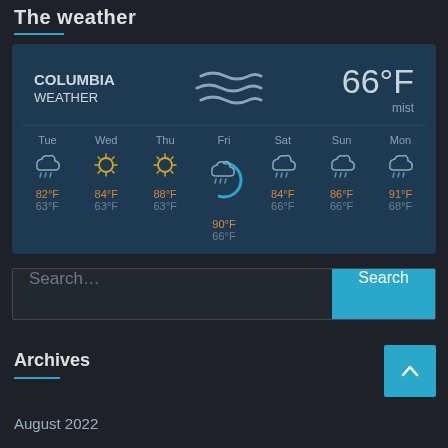The weather
[Figure (infographic): Weather widget showing Columbia Weather with mist icon, temperature 66°F, and 7-day forecast: Tue 82/63°F rain, Wed 84/63°F sunny, Thu 88/63°F sunny, Fri 90/66°F rain (highlighted), Sat 84/66°F rain, Sun 86/66°F rain, Mon 91/68°F rain]
Search...
Archives
August 2022